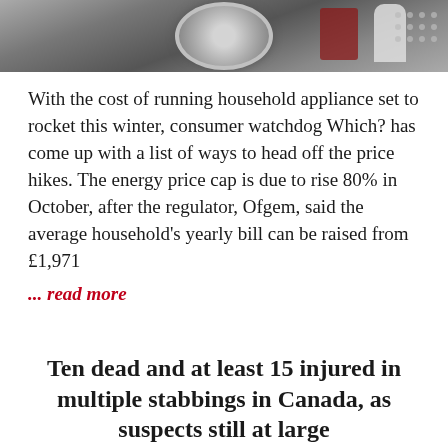[Figure (photo): Close-up photo of household appliance (washing machine drum area) with colorful items visible]
With the cost of running household appliance set to rocket this winter, consumer watchdog Which? has come up with a list of ways to head off the price hikes. The energy price cap is due to rise 80% in October, after the regulator, Ofgem, said the average household's yearly bill can be raised from £1,971
... read more
Ten dead and at least 15 injured in multiple stabbings in Canada, as suspects still at large